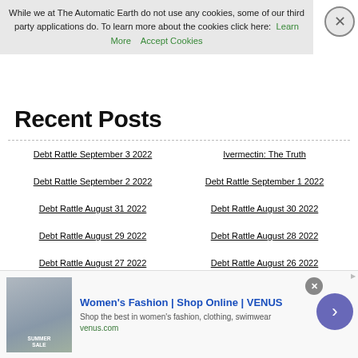While we at The Automatic Earth do not use any cookies, some of our third party applications do. To learn more about the cookies click here: Learn More   Accept Cookies
Recent Posts
Debt Rattle September 3 2022
Ivermectin: The Truth
Debt Rattle September 2 2022
Debt Rattle September 1 2022
Debt Rattle August 31 2022
Debt Rattle August 30 2022
Debt Rattle August 29 2022
Debt Rattle August 28 2022
Debt Rattle August 27 2022
Debt Rattle August 26 2022
Debt Rattle August 25 2022
EU: Controlled Demolition
Debt Rattle August 24 2022
Debt Rattle August 23 2022
Debt Rattle August 22 2022
Debt Rattle August 21 2022
Debt Rattle August 20 2022
Debt Rattle August 19 2022
[Figure (other): Advertisement banner for Women's Fashion | Shop Online | VENUS]